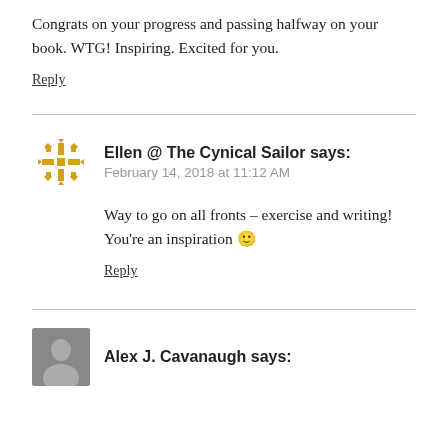Congrats on your progress and passing halfway on your book. WTG! Inspiring. Excited for you.
Reply
Ellen @ The Cynical Sailor says:
February 14, 2018 at 11:12 AM
Way to go on all fronts – exercise and writing! You're an inspiration 🙂
Reply
Alex J. Cavanaugh says: